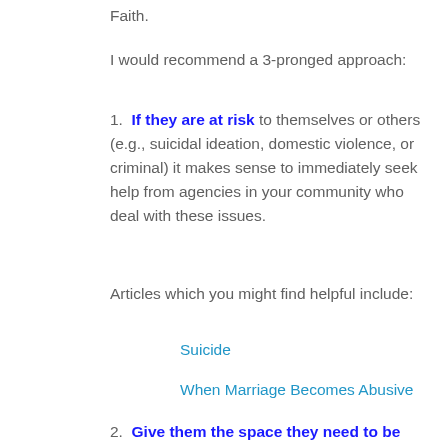Faith.
I would recommend a 3-pronged approach:
1. If they are at risk to themselves or others (e.g., suicidal ideation, domestic violence, or criminal) it makes sense to immediately seek help from agencies in your community who deal with these issues.
Articles which you might find helpful include:
Suicide
When Marriage Becomes Abusive
2. Give them the space they need to be heard by listening to and validating their feelings. Remember, God gave us 2 ears and one mouth! J If someone in your community has got some training from the Virtues Project, they will know how to spiritually companion people and affirm their